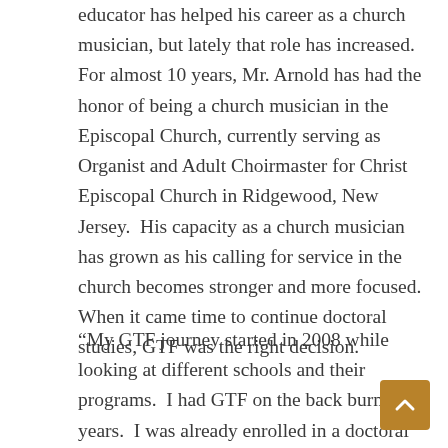educator has helped his career as a church musician, but lately that role has increased.  For almost 10 years, Mr. Arnold has had the honor of being a church musician in the Episcopal Church, currently serving as Organist and Adult Choirmaster for Christ Episcopal Church in Ridgewood, New Jersey.  His capacity as a church musician has grown as his calling for service in the church becomes stronger and more focused.  When it came time to continue doctoral studies, GTF was the right decision.
“My GTF journey started in 2008 while looking at different schools and their programs.  I had GTF on the back burner for years.  I was already enrolled in a doctoral program since 2010, but I still felt it was not cultivating my growing needs as a church musician and educator.  God’s plan can be unexpected and I had to withdraw from my studies in 2013 due to my teaching position